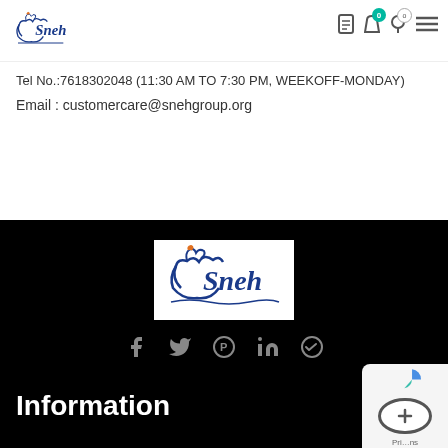[Figure (logo): Sneh logo with swan graphic in blue/orange]
Tel No.:7618302048 (11:30 AM TO 7:30 PM, WEEKOFF-MONDAY)
Email : customercare@snehgroup.org
[Figure (logo): Sneh logo in white box on black footer background]
[Figure (infographic): Social media icons: Facebook, Twitter, Pinterest, LinkedIn, Telegram]
Information